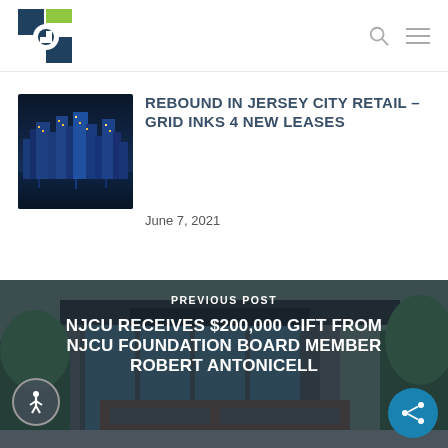Grid logo and navigation bar with search and menu icons
REBOUND IN JERSEY CITY RETAIL – GRID INKS 4 NEW LEASES
June 7, 2021
[Figure (photo): Aerial night view of Jersey City skyline with illuminated skyscrapers]
PREVIOUS POST
NJCU RECEIVES $200,000 GIFT FROM NJCU FOUNDATION BOARD MEMBER ROBERT ANTONICELL
[Figure (photo): NJCU building exterior with signage and trees]